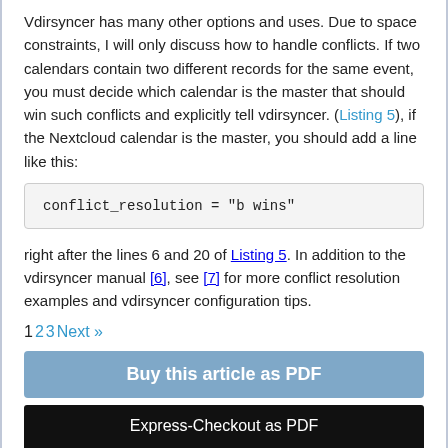Vdirsyncer has many other options and uses. Due to space constraints, I will only discuss how to handle conflicts. If two calendars contain two different records for the same event, you must decide which calendar is the master that should win such conflicts and explicitly tell vdirsyncer. (Listing 5), if the Nextcloud calendar is the master, you should add a line like this:
conflict_resolution = "b wins"
right after the lines 6 and 20 of Listing 5. In addition to the vdirsyncer manual [6], see [7] for more conflict resolution examples and vdirsyncer configuration tips.
1 2 3 Next »
Buy this article as PDF
Express-Checkout as PDF